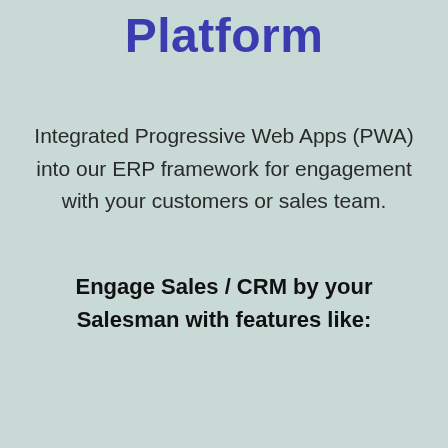Platform
Integrated Progressive Web Apps (PWA) into our ERP framework for engagement with your customers or sales team.
Engage Sales / CRM by your Salesman with features like: